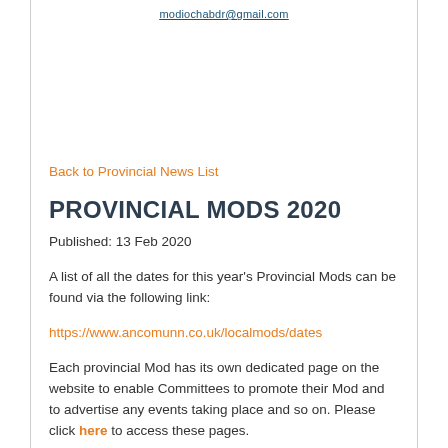modiochabdr@gmail.com
Back to Provincial News List
PROVINCIAL MODS 2020
Published: 13 Feb 2020
A list of all the dates for this year's Provincial Mods can be found via the following link:
https://www.ancomunn.co.uk/localmods/dates
Each provincial Mod has its own dedicated page on the website to enable Committees to promote their Mod and to advertise any events taking place and so on. Please click here to access these pages.